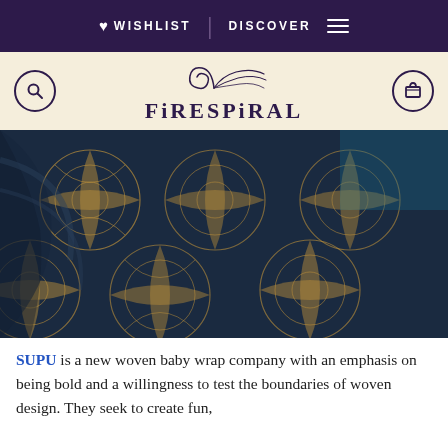WISHLIST  |  DISCOVER  ≡
[Figure (logo): Firespiral logo with decorative spiral graphic above stylized text reading FIRESPIRAL on a cream background, with search and cart icons on either side]
[Figure (photo): Close-up photo of woven fabric with intricate Celtic-style mandala pattern in navy/dark teal and golden yellow colors, showing folds of the wrap]
SUPU is a new woven baby wrap company with an emphasis on being bold and a willingness to test the boundaries of woven design. They seek to create fun,